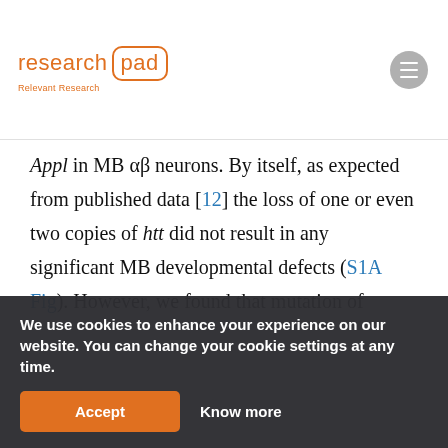research pad — Relevant Research
Appl in MB αβ neurons. By itself, as expected from published data [12] the loss of one or even two copies of htt did not result in any significant MB developmental defects (S1A Fig). However, we found that mutation of
We use cookies to enhance your experience on our website. You can change your cookie settings at any time.
Accept  Know more